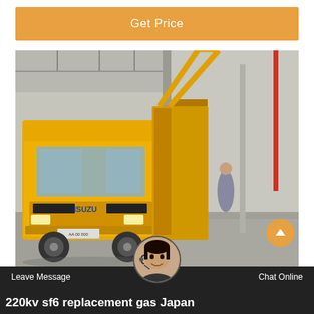Get Price
[Figure (photo): Yellow Isuzu truck inside an industrial warehouse or factory building with high ceilings, concrete floor, and large structural elements visible.]
Leave Message   Chat Online
220kv sf6 replacement gas Japan